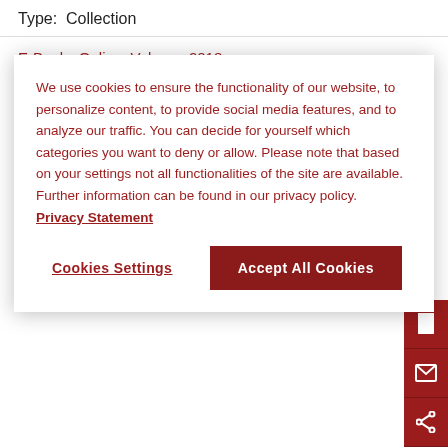Type:  Collection
We use cookies to ensure the functionality of our website, to personalize content, to provide social media features, and to analyze our traffic. You can decide for yourself which categories you want to deny or allow. Please note that based on your settings not all functionalities of the site are available. Further information can be found in our privacy policy.  Privacy Statement
Cookies Settings
Accept All Cookies
E-Books Online, Volume: 2018
Author: Various Authors & Editors
Schöningh and Fink Literature and Cultural Studies E-Books Online, Collection 2018 is the electronic version of the book publication program of Verlag Ferdinand Schöningh and Wilhelm Fink Verlag in the field of Literature and Cultural Studies from 2018.